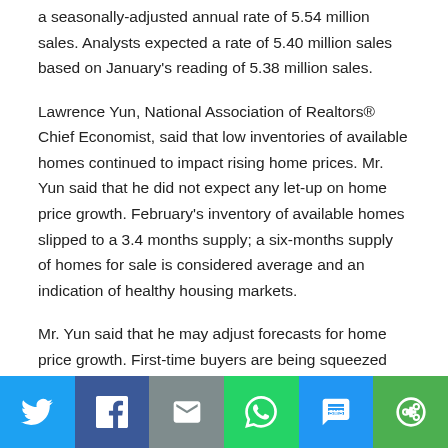a seasonally-adjusted annual rate of 5.54 million sales. Analysts expected a rate of 5.40 million sales based on January's reading of 5.38 million sales.
Lawrence Yun, National Association of Realtors® Chief Economist, said that low inventories of available homes continued to impact rising home prices. Mr. Yun said that he did not expect any let-up on home price growth. February's inventory of available homes slipped to a 3.4 months supply; a six-months supply of homes for sale is considered average and an indication of healthy housing markets.
Mr. Yun said that he may adjust forecasts for home price growth. First-time buyers are being squeezed out of housing markets due to rapidly rising home prices. The average price